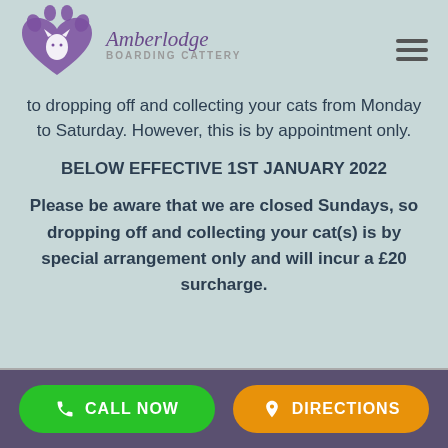Amberlodge Boarding Cattery
to dropping off and collecting your cats from Monday to Saturday. However, this is by appointment only.
BELOW EFFECTIVE 1ST JANUARY 2022
Please be aware that we are closed Sundays, so dropping off and collecting your cat(s) is by special arrangement only and will incur a £20 surcharge.
CALL NOW   DIRECTIONS